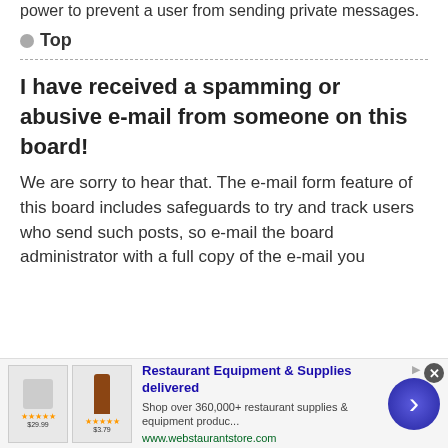power to prevent a user from sending private messages.
Top
I have received a spamming or abusive e-mail from someone on this board!
We are sorry to hear that. The e-mail form feature of this board includes safeguards to try and track users who send such posts, so e-mail the board administrator with a full copy of the e-mail you
[Figure (other): Advertisement banner for Restaurant Equipment & Supplies delivered from webstaurantstore.com with product images and arrow button]